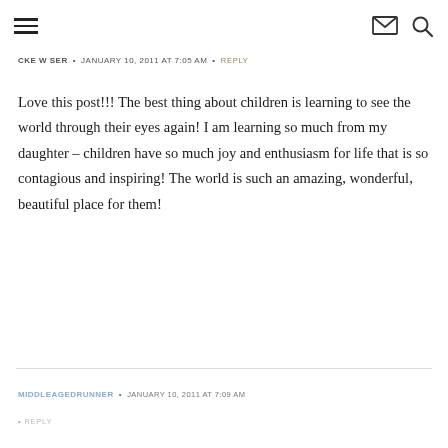Navigation menu, email icon, search icon
CKE W SER • JANUARY 10, 2011 AT 7:05 AM • REPLY
Love this post!!! The best thing about children is learning to see the world through their eyes again! I am learning so much from my daughter – children have so much joy and enthusiasm for life that is so contagious and inspiring! The world is such an amazing, wonderful, beautiful place for them!
MIDDLEAGEDRUNNER • JANUARY 10, 2011 AT 7:09 AM
• REPLY